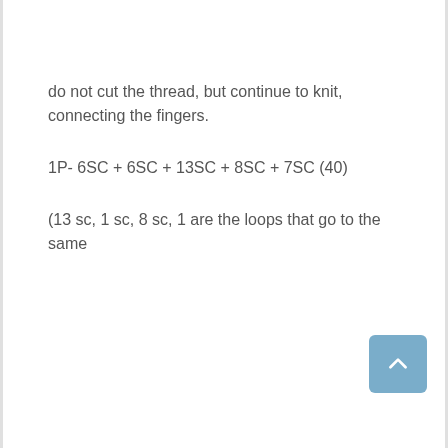do not cut the thread, but continue to knit, connecting the fingers.
1P- 6SC + 6SC + 13SC + 8SC + 7SC (40)
(13 sc, 1 sc, 8 sc, 1 are the loops that go to the same